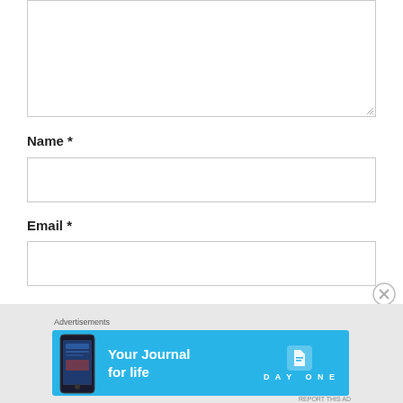[Figure (screenshot): Textarea form field with resize handle at bottom right]
Name *
[Figure (screenshot): Name input text field]
Email *
[Figure (screenshot): Email input text field]
Advertisements
[Figure (screenshot): Day One app advertisement banner - Your Journal for life]